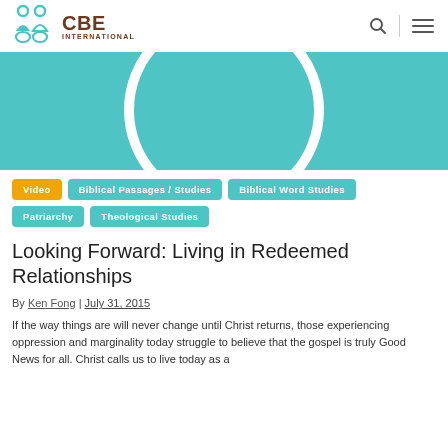[Figure (logo): CBE International logo with teal icon and brown text]
[Figure (illustration): Teal/turquoise hero banner with a large white circular arc shape in the center]
Video
Biblical Passages / Studies
Biblical Word Studies
Patriarchy
Theological Studies
Looking Forward: Living in Redeemed Relationships
By Ken Fong | July 31, 2015
If the way things are will never change until Christ returns, those experiencing oppression and marginality today struggle to believe that the gospel is truly Good News for all. Christ calls us to live today as a